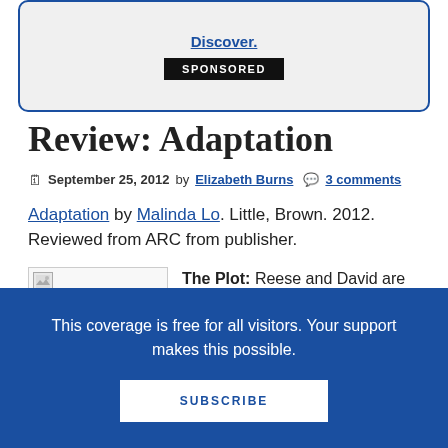[Figure (other): Sponsored advertisement box with 'Discover.' link and SPONSORED badge, bordered with blue rounded rectangle]
Review: Adaptation
September 25, 2012 by Elizabeth Burns  3 comments
Adaptation by Malinda Lo. Little, Brown. 2012. Reviewed from ARC from publisher.
The Plot: Reese and David are returning home from nationals
This coverage is free for all visitors. Your support makes this possible.